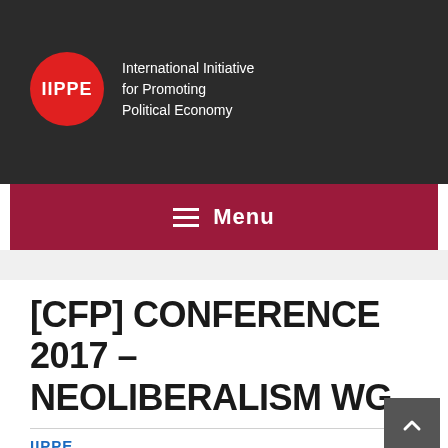IIPPE — International Initiative for Promoting Political Economy
[Figure (logo): IIPPE red circle logo with white text 'IIPPE' and organization name 'International Initiative for Promoting Political Economy' to the right, on dark background]
Menu
[CFP] CONFERENCE 2017 – NEOLIBERALISM WG
IIPPE
MARCH 7, 2017
CONFERENCE 2017